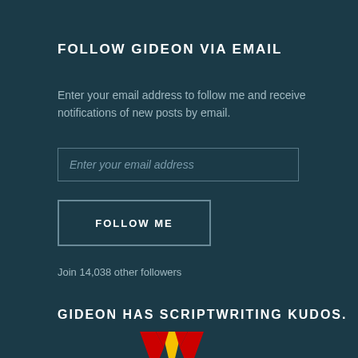FOLLOW GIDEON VIA EMAIL
Enter your email address to follow me and receive notifications of new posts by email.
[Figure (other): Email input field with placeholder text 'Enter your email address']
[Figure (other): Button labeled FOLLOW ME with border outline]
Join 14,038 other followers
GIDEON HAS SCRIPTWRITING KUDOS.
[Figure (logo): Red and yellow W-shaped logo at bottom center]